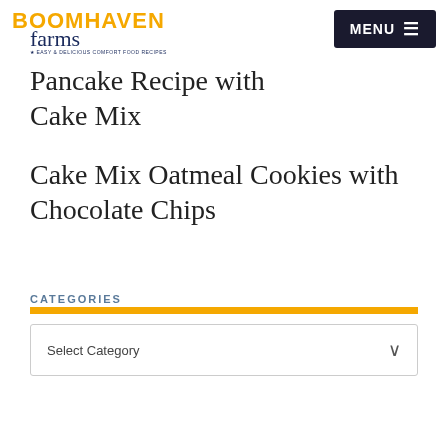[Figure (logo): Boomhaven Farms logo — bold yellow uppercase BOOMHAVEN text with cursive navy 'farms' below and tagline 'Easy & Delicious Comfort Food Recipes']
Pancake Recipe with Cake Mix
Cake Mix Oatmeal Cookies with Chocolate Chips
CATEGORIES
Select Category